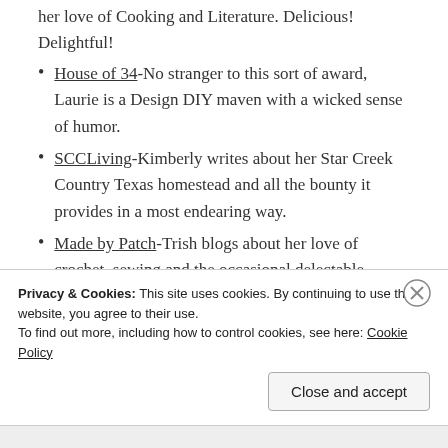her love of Cooking and Literature. Delicious! Delightful!
House of 34-No stranger to this sort of award, Laurie is a Design DIY maven with a wicked sense of humor.
SCCLiving-Kimberly writes about her Star Creek Country Texas homestead and all the bounty it provides in a most endearing way.
Made by Patch-Trish blogs about her love of crochet, sewing and the occasional delectable recipe. Her patchwork is a whimsical treat!
I hope you enjoy this group as much as I have! Have a
Privacy & Cookies: This site uses cookies. By continuing to use this website, you agree to their use.
To find out more, including how to control cookies, see here: Cookie Policy
Close and accept